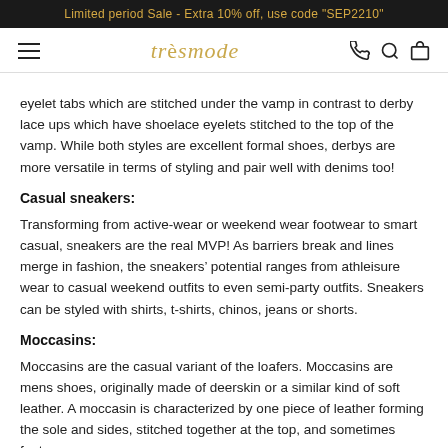Limited period Sale - Extra 10% off, use code "SEP2210"
tresmode
eyelet tabs which are stitched under the vamp in contrast to derby lace ups which have shoelace eyelets stitched to the top of the vamp. While both styles are excellent formal shoes, derbys are more versatile in terms of styling and pair well with denims too!
Casual sneakers:
Transforming from active-wear or weekend wear footwear to smart casual, sneakers are the real MVP! As barriers break and lines merge in fashion, the sneakers’ potential ranges from athleisure wear to casual weekend outfits to even semi-party outfits. Sneakers can be styled with shirts, t-shirts, chinos, jeans or shorts.
Moccasins:
Moccasins are the casual variant of the loafers. Moccasins are mens shoes, originally made of deerskin or a similar kind of soft leather. A moccasin is characterized by one piece of leather forming the sole and sides, stitched together at the top, and sometimes feature a vamp.